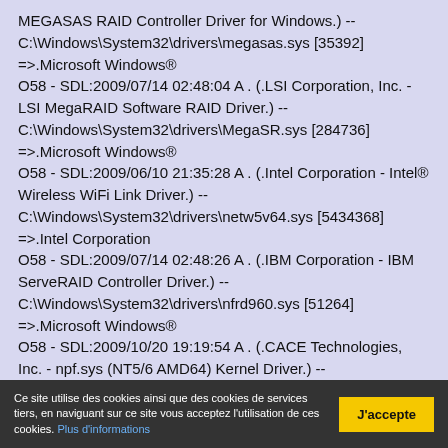MEGASAS RAID Controller Driver for Windows.) -- C:\Windows\System32\drivers\megasas.sys [35392] =>.Microsoft Windows®
O58 - SDL:2009/07/14 02:48:04 A . (.LSI Corporation, Inc. - LSI MegaRAID Software RAID Driver.) -- C:\Windows\System32\drivers\MegaSR.sys [284736] =>.Microsoft Windows®
O58 - SDL:2009/06/10 21:35:28 A . (.Intel Corporation - Intel® Wireless WiFi Link Driver.) -- C:\Windows\System32\drivers\netw5v64.sys [5434368] =>.Intel Corporation
O58 - SDL:2009/07/14 02:48:26 A . (.IBM Corporation - IBM ServeRAID Controller Driver.) -- C:\Windows\System32\drivers\nfrd960.sys [51264] =>.Microsoft Windows®
O58 - SDL:2009/10/20 19:19:54 A . (.CACE Technologies, Inc. - npf.sys (NT5/6 AMD64) Kernel Driver.) -- C:\Windows\System32\drivers\npf.sys [47632] =>.CACE Technologies, Inc.®
Ce site utilise des cookies ainsi que des cookies de services tiers, en naviguant sur ce site vous acceptez l'utilisation de ces cookies. Plus d'informations